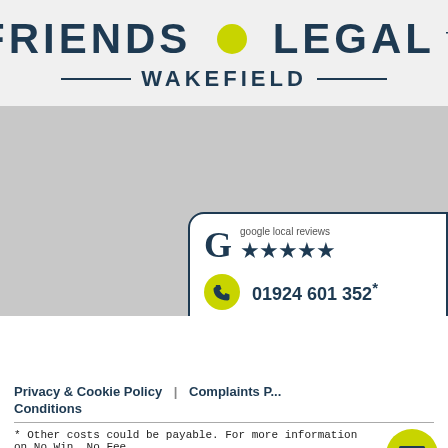FRIENDS LEGAL™ WAKEFIELD
[Figure (logo): Friends Legal Wakefield logo with yellow dot between FRIENDS and LEGAL, and WAKEFIELD below with horizontal rules]
[Figure (infographic): Google local reviews 5-star badge, phone number 01924 601 352*, and Start Your Claim button in a rounded card]
Privacy & Cookie Policy | Complaints P... Conditions
* Other costs could be payable. For more information on No Win, No Fee agreements, visit our page: No Win, No Fee
** Our panel of UK solicitors are specialists in personal injury claims. Contact us today to speak to one of our experts who can put you in touch with a panel solicitor if they